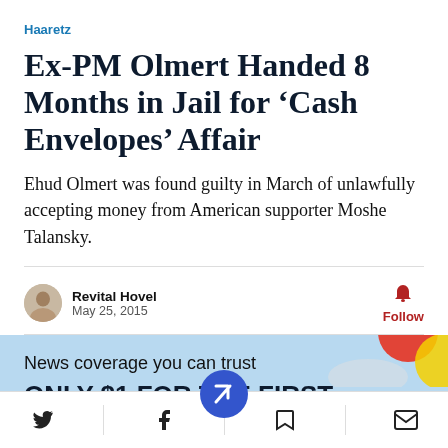Haaretz
Ex-PM Olmert Handed 8 Months in Jail for ‘Cash Envelopes’ Affair
Ehud Olmert was found guilty in March of unlawfully accepting money from American supporter Moshe Talansky.
Revital Hovel
May 25, 2015
News coverage you can trust
ONLY $1 FOR THE FIRST MONTH WHEN YOU BUY AN